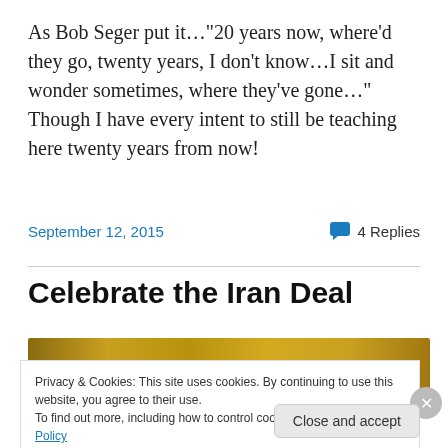As Bob Seger put it…"20 years now, where'd they go, twenty years, I don't know…I sit and wonder sometimes, where they've gone…"  Though I have every intent to still be teaching here twenty years from now!
September 12, 2015    💬 4 Replies
Celebrate the Iran Deal
[Figure (photo): Gold/brown textured banner image at top of blog post]
Privacy & Cookies: This site uses cookies. By continuing to use this website, you agree to their use. To find out more, including how to control cookies, see here: Cookie Policy
Close and accept